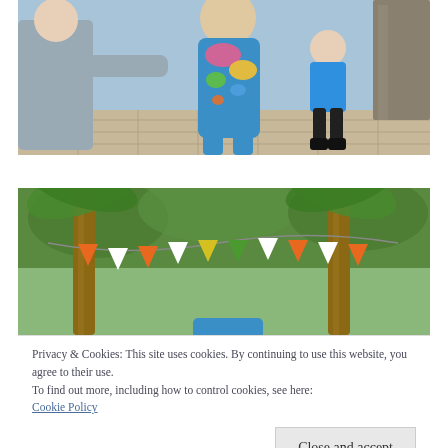[Figure (photo): Outdoor scene with people. A person in a blue body-painted suit decorated with a world map stands in a plaza area. An adult in grey reaches over to the painted figure. A child in blue shirt and dark shorts stands in background next to a stone pillar.]
[Figure (photo): Outdoor scene with palm trees decorated with colorful triangular bunting flags in orange, white, green colors. Partial view of person at bottom.]
Privacy & Cookies: This site uses cookies. By continuing to use this website, you agree to their use.
To find out more, including how to control cookies, see here:
Cookie Policy
[Figure (photo): Partial view of colorful body-painted figure, partially cropped at bottom of page.]